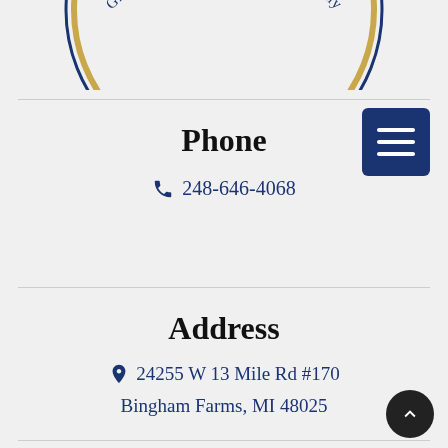[Figure (logo): Partial circular logo with text 'Greeted Personally, Treated Personally' along the arc, with gold and blue coloring]
Phone
248-646-4068
Address
24255 W 13 Mile Rd #170
Bingham Farms, MI 48025